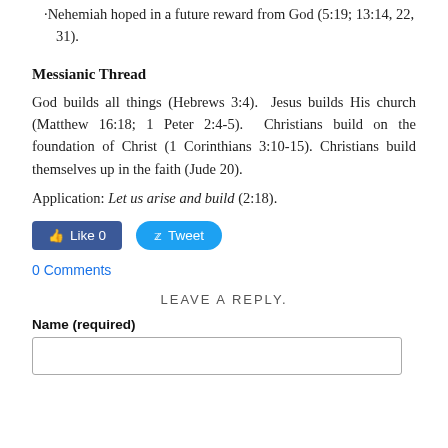·Nehemiah hoped in a future reward from God (5:19; 13:14, 22, 31).
Messianic Thread
God builds all things (Hebrews 3:4). Jesus builds His church (Matthew 16:18; 1 Peter 2:4-5). Christians build on the foundation of Christ (1 Corinthians 3:10-15). Christians build themselves up in the faith (Jude 20).
Application: Let us arise and build (2:18).
[Figure (other): Facebook Like button (Like 0) and Twitter Tweet button]
0 Comments
LEAVE A REPLY.
Name (required)
[Figure (other): Text input field for name]